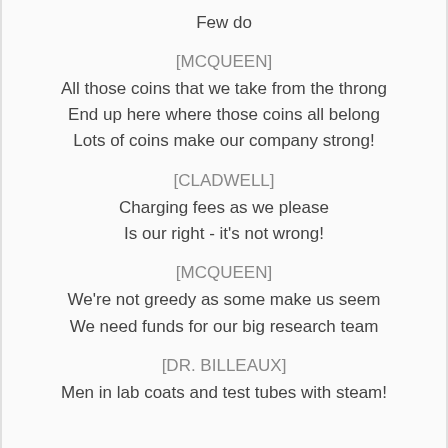Few do
[MCQUEEN]
All those coins that we take from the throng
End up here where those coins all belong
Lots of coins make our company strong!
[CLADWELL]
Charging fees as we please
Is our right - it's not wrong!
[MCQUEEN]
We're not greedy as some make us seem
We need funds for our big research team
[DR. BILLEAUX]
Men in lab coats and test tubes with steam!